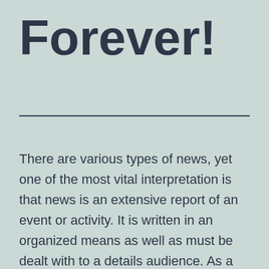Forever!
There are various types of news, yet one of the most vital interpretation is that news is an extensive report of an event or activity. It is written in an organized means as well as must be dealt with to a details audience. As a result, news should prompt viewers to do something about it, which is the main combination of the